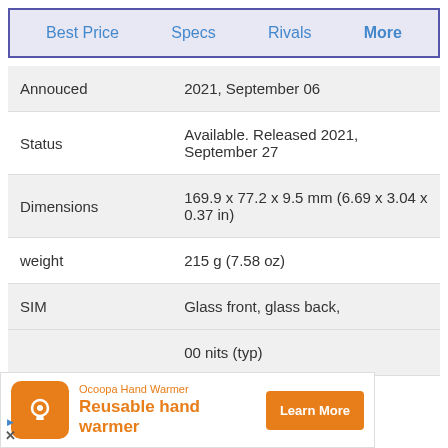Best Price  Specs  Rivals  More
| Spec | Value |
| --- | --- |
| Annouced | 2021, September 06 |
| Status | Available. Released 2021, September 27 |
| Dimensions | 169.9 x 77.2 x 9.5 mm (6.69 x 3.04 x 0.37 in) |
| weight | 215 g (7.58 oz) |
| SIM | Glass front, glass back, |
[Figure (infographic): Advertisement banner for Ocoopa Hand Warmer - Reusable hand warmer product with Learn More button. Partially overlapping the spec table at the bottom of the page.]
00 nits (typ)